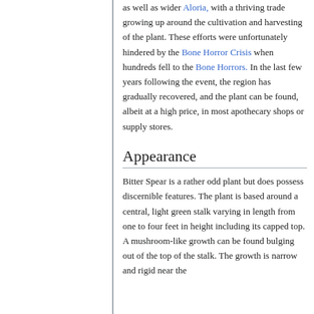as well as wider Aloria, with a thriving trade growing up around the cultivation and harvesting of the plant. These efforts were unfortunately hindered by the Bone Horror Crisis when hundreds fell to the Bone Horrors. In the last few years following the event, the region has gradually recovered, and the plant can be found, albeit at a high price, in most apothecary shops or supply stores.
Appearance
Bitter Spear is a rather odd plant but does possess discernible features. The plant is based around a central, light green stalk varying in length from one to four feet in height including its capped top. A mushroom-like growth can be found bulging out of the top of the stalk. The growth is narrow and rigid near the